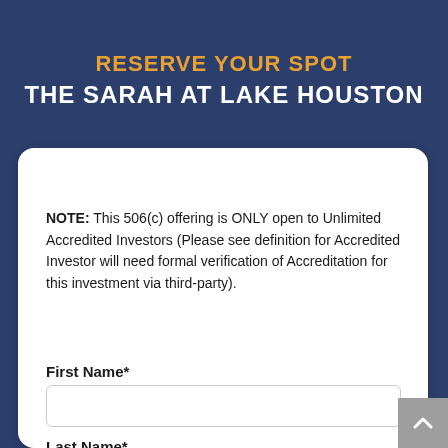RESERVE YOUR SPOT
THE SARAH AT LAKE HOUSTON
NOTE: This 506(c) offering is ONLY open to Unlimited Accredited Investors (Please see definition for Accredited Investor will need formal verification of Accreditation for this investment via third-party).
First Name*
Last Name*